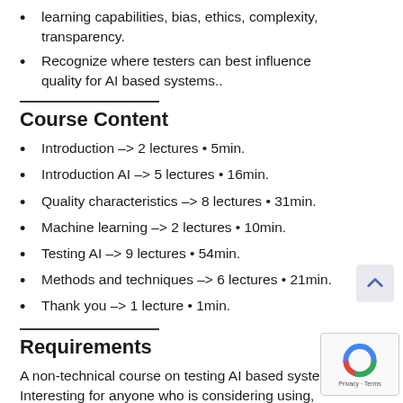learning capabilities, bias, ethics, complexity, transparency.
Recognize where testers can best influence quality for AI based systems..
Course Content
Introduction –> 2 lectures • 5min.
Introduction AI –> 5 lectures • 16min.
Quality characteristics –> 8 lectures • 31min.
Machine learning –> 2 lectures • 10min.
Testing AI –> 9 lectures • 54min.
Methods and techniques –> 6 lectures • 21min.
Thank you –> 1 lecture • 1min.
Requirements
A non-technical course on testing AI based systems. Interesting for anyone who is considering using, building, or integrating AI based systems.